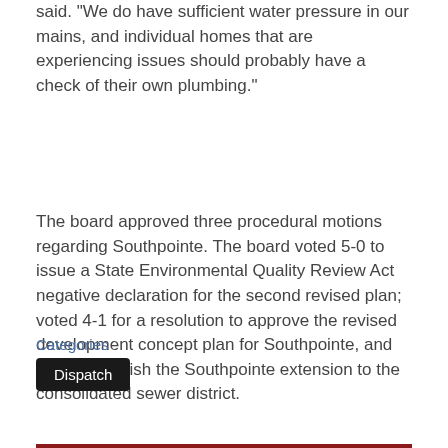said. "We do have sufficient water pressure in our mains, and individual homes that are experiencing issues should probably have a check of their own plumbing."
The board approved three procedural motions regarding Southpointe. The board voted 5-0 to issue a State Environmental Quality Review Act negative declaration for the second revised plan; voted 4-1 for a resolution to approve the revised development concept plan for Southpointe, and 5-0 to establish the Southpointe extension to the consolidated sewer district.
Categories
Dispatch